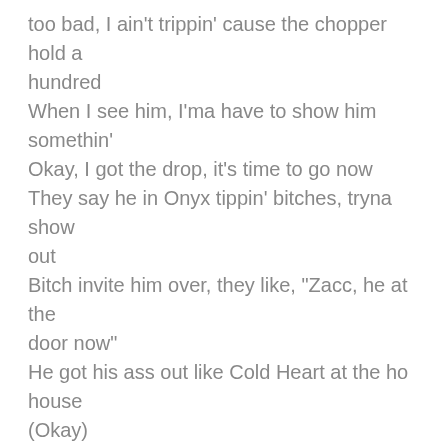too bad, I ain't trippin' cause the chopper hold a hundred
When I see him, I'ma have to show him somethin'
Okay, I got the drop, it's time to go now
They say he in Onyx tippin' bitches, tryna show out
Bitch invite him over, they like, "Zacc, he at the door now"
He got his ass out like Cold Heart at the ho house (Okay)
I hit him twice, made him shiver
Drove his body from the Bluff all the way to Broad River (Okay)